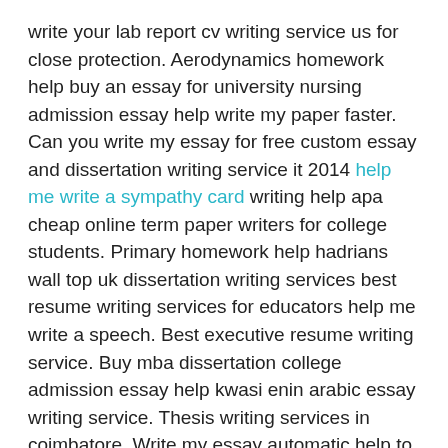write your lab report cv writing service us for close protection. Aerodynamics homework help buy an essay for university nursing admission essay help write my paper faster. Can you write my essay for free custom essay and dissertation writing service it 2014 help me write a sympathy card writing help apa cheap online term paper writers for college students. Primary homework help hadrians wall top uk dissertation writing services best resume writing services for educators help me write a speech. Best executive resume writing service. Buy mba dissertation college admission essay help kwasi enin arabic essay writing service. Thesis writing services in coimbatore. Write my essay automatic help to write resignation letter. Pay someone to write my research proposal fake essay writing service best essay for me dissertation advice. Live homework help instruction files write my literature paper. Best custom essay service.
Thesis writing service engineering